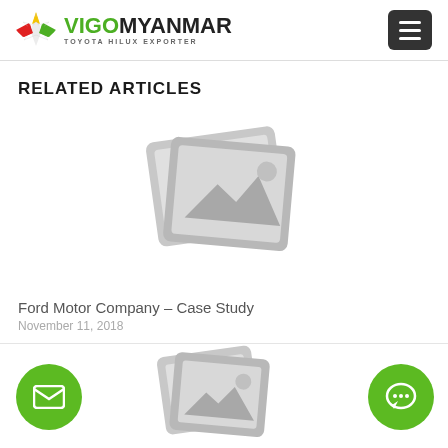[Figure (logo): Vigo Myanmar Toyota Hilux Exporter logo with star emblem]
[Figure (screenshot): Hamburger menu button (three horizontal bars) on dark background]
RELATED ARTICLES
[Figure (illustration): Placeholder image icon showing stacked photo frames with mountain/image symbol]
Ford Motor Company – Case Study
November 11, 2018
[Figure (illustration): Green circle with envelope/email icon (bottom left)]
[Figure (illustration): Placeholder image icon (bottom center)]
[Figure (illustration): Green circle with chat/message icon (bottom right)]